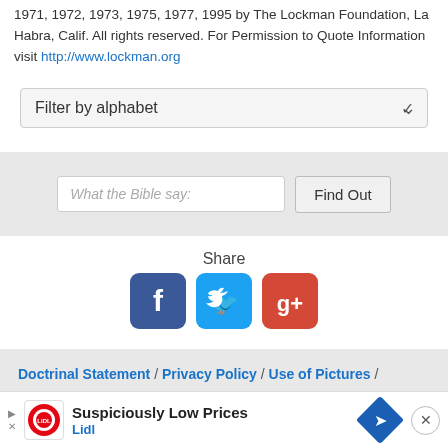1971, 1972, 1973, 1975, 1977, 1995 by The Lockman Foundation, La Habra, Calif. All rights reserved. For Permission to Quote Information visit http://www.lockman.org
[Figure (screenshot): A dropdown/select element labeled 'Filter by alphabet' with a chevron arrow on the right, styled with a light gray background and border.]
[Figure (screenshot): A search bar area with light gray background containing a text input placeholder 'What the Bible say:' and a 'Find Out' button.]
Share
[Figure (infographic): Three social media icons: Facebook (blue), Twitter (light blue), Google+ (red) for sharing.]
Doctrinal Statement / Privacy Policy / Use of Pictures / Donate / Contact Us
© Copyright [2011 - 2022] Knowing-Jesus.com – All Rights Reserved
[Figure (screenshot): Advertisement banner at bottom: Lidl logo, 'Suspiciously Low Prices' headline, 'Lidl' subtext, blue diamond navigation icon, close button (X).]